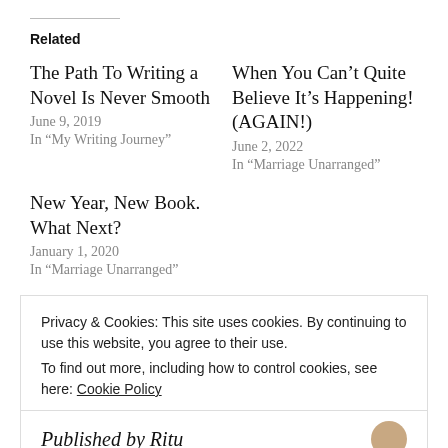Related
The Path To Writing a Novel Is Never Smooth
June 9, 2019
In “My Writing Journey”
When You Can't Quite Believe It's Happening! (AGAIN!)
June 2, 2022
In “Marriage Unarranged”
New Year, New Book. What Next?
January 1, 2020
In “Marriage Unarranged”
Privacy & Cookies: This site uses cookies. By continuing to use this website, you agree to their use.
To find out more, including how to control cookies, see here: Cookie Policy
Close and accept
Published by Ritu